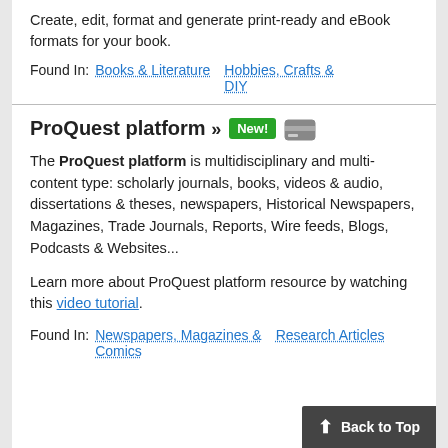Create, edit, format and generate print-ready and eBook formats for your book.
Found In: Books & Literature   Hobbies, Crafts & DIY
ProQuest platform » New!
The ProQuest platform is multidisciplinary and multi-content type: scholarly journals, books, videos & audio, dissertations & theses, newspapers, Historical Newspapers, Magazines, Trade Journals, Reports, Wire feeds, Blogs, Podcasts & Websites...
Learn more about ProQuest platform resource by watching this video tutorial.
Found In: Newspapers, Magazines & Comics   Research Articles